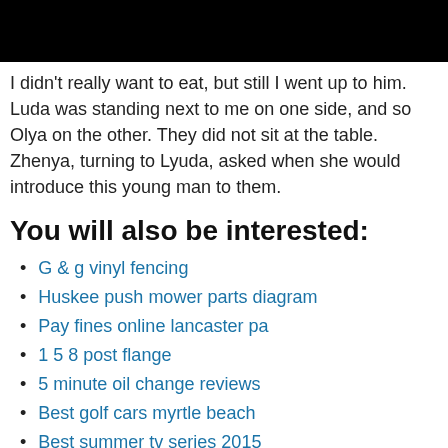[Figure (photo): Black image strip at top of page, partially cropped photo]
I didn't really want to eat, but still I went up to him. Luda was standing next to me on one side, and so Olya on the other. They did not sit at the table. Zhenya, turning to Lyuda, asked when she would introduce this young man to them.
You will also be interested:
G & g vinyl fencing
Huskee push mower parts diagram
Pay fines online lancaster pa
1 5 8 post flange
5 minute oil change reviews
Best golf cars myrtle beach
Best summer tv series 2015
Burning crusade classic server status